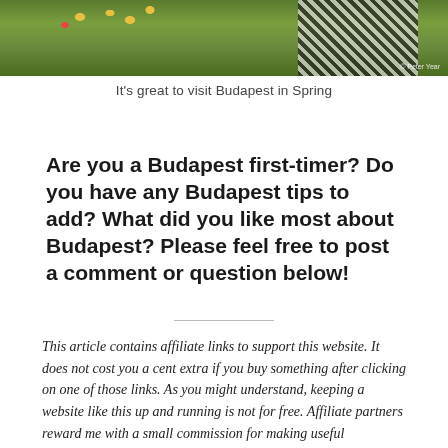[Figure (photo): Partial photo showing a woman in a checkered dress with a garden of yellow and red flowers and green foliage in the background. A watermark reads '© Peter Year' at the bottom right.]
It's great to visit Budapest in Spring
Are you a Budapest first-timer? Do you have any Budapest tips to add? What did you like most about Budapest? Please feel free to post a comment or question below!
This article contains affiliate links to support this website. It does not cost you a cent extra if you buy something after clicking on one of those links. As you might understand, keeping a website like this up and running is not for free. Affiliate partners reward me with a small commission for making useful connections between buyers and their